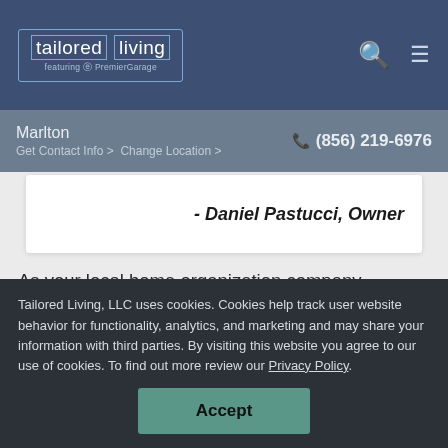tailored living featuring PremierGarage
Marlton
Get Contact Info > Change Location >  (856) 219-6976
- Daniel Pastucci, Owner
As your local home organization company, Tailored Living featuring PremierGarage is dedicated to bringing Southern New Jersey and the surrounding areas outstanding professional organizing services and personalized organization
Tailored Living, LLC uses cookies. Cookies help track user website behavior for functionality, analytics, and marketing and may share your information with third parties. By visiting this website you agree to our use of cookies. To find out more review our Privacy Policy.
Accept